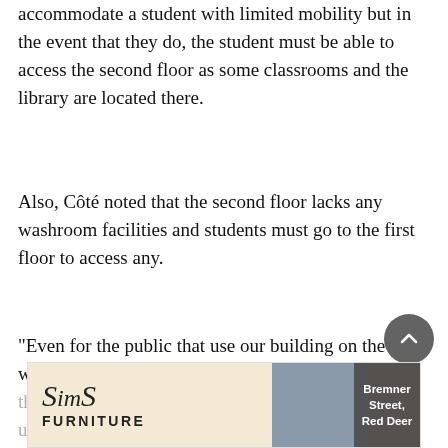accommodate a student with limited mobility but in the event that they do, the student must be able to access the second floor as some classrooms and the library are located there.
Also, Côté noted that the second floor lacks any washroom facilities and students must go to the first floor to access any.
“Even for the public that use our building on the weekends there is no access through a lift or an elevator to get up
Read More ˅
❮ Previous story
Next story ❯
[Figure (illustration): Sims Furniture advertisement banner with logo text and photo of two people on a couch with overlay text: Bremner Street, Red Deer]